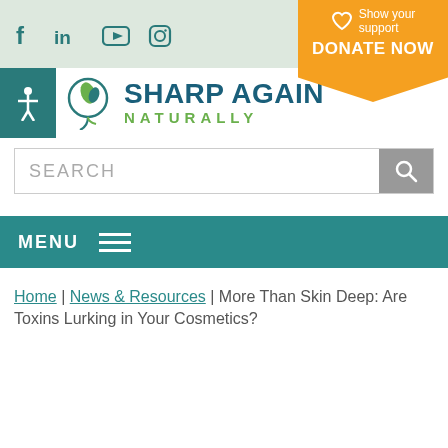[Figure (screenshot): Social media icons: Facebook (f), LinkedIn (in), YouTube play button, Instagram]
[Figure (infographic): Orange donate banner with heart icon reading 'Show your support DONATE NOW']
[Figure (logo): Sharp Again Naturally logo with teal brain/leaf icon, teal text 'SHARP AGAIN' and green text 'NATURALLY']
[Figure (screenshot): Search bar with SEARCH placeholder text and gray search button with magnifying glass icon]
MENU
Home | News & Resources | More Than Skin Deep: Are Toxins Lurking in Your Cosmetics?